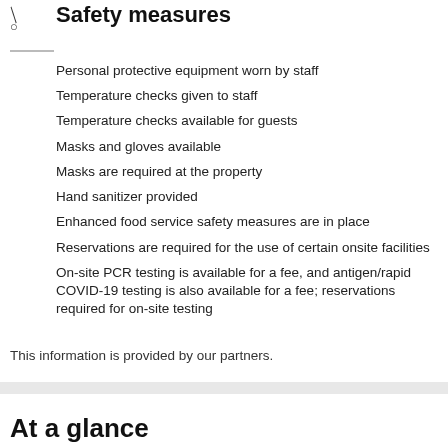Safety measures
Personal protective equipment worn by staff
Temperature checks given to staff
Temperature checks available for guests
Masks and gloves available
Masks are required at the property
Hand sanitizer provided
Enhanced food service safety measures are in place
Reservations are required for the use of certain onsite facilities
On-site PCR testing is available for a fee, and antigen/rapid COVID-19 testing is also available for a fee; reservations required for on-site testing
This information is provided by our partners.
At a glance